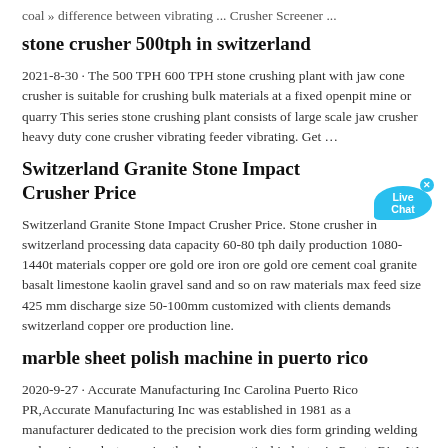coal » difference between vibrating ... Crusher Screener ...
stone crusher 500tph in switzerland
2021-8-30 · The 500 TPH 600 TPH stone crushing plant with jaw cone crusher is suitable for crushing bulk materials at a fixed openpit mine or quarry This series stone crushing plant consists of large scale jaw crusher heavy duty cone crusher vibrating feeder vibrating. Get …
Switzerland Granite Stone Impact Crusher Price
Switzerland Granite Stone Impact Crusher Price. Stone crusher in switzerland processing data capacity 60-80 tph daily production 1080-1440t materials copper ore gold ore iron ore gold ore cement coal granite basalt limestone kaolin gravel sand and so on raw materials max feed size 425 mm discharge size 50-100mm customized with clients demands switzerland copper ore production line.
marble sheet polish machine in puerto rico
2020-9-27 · Accurate Manufacturing Inc Carolina Puerto Rico PR,Accurate Manufacturing Inc was established in 1981 as a manufacturer dedicated to the precision work dies form grinding welding and repair works to service the pharmaceutical industry in Puerto Rico We envision our